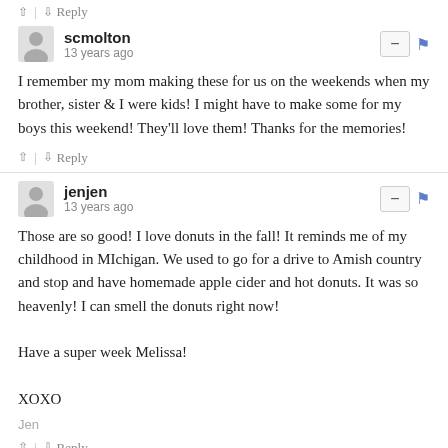↑ | ↓ Reply
scmolton
13 years ago
I remember my mom making these for us on the weekends when my brother, sister & I were kids! I might have to make some for my boys this weekend! They'll love them! Thanks for the memories!
↑ | ↓ Reply
jenjen
13 years ago
Those are so good! I love donuts in the fall! It reminds me of my childhood in MIchigan. We used to go for a drive to Amish country and stop and have homemade apple cider and hot donuts. It was so heavenly! I can smell the donuts right now!

Have a super week Melissa!

XOXO
Jen
↑ | ↓ Reply